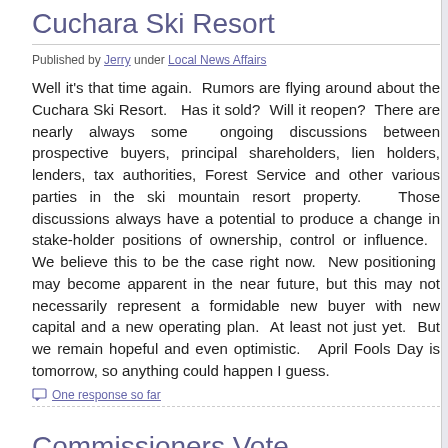Cuchara Ski Resort
Published by Jerry under Local News Affairs
Well it's that time again.  Rumors are flying around about the Cuchara Ski Resort.   Has it sold?  Will it reopen?  There are nearly always some  ongoing discussions between prospective buyers, principal shareholders, lien holders, lenders, tax authorities, Forest Service and other various parties in the ski mountain resort property.   Those discussions always have a potential to produce a change in stake-holder positions of ownership, control or influence.   We believe this to be the case right now.  New positioning  may become apparent in the near future, but this may not necessarily represent a formidable new buyer with new capital and a new operating plan.  At least not just yet.  But we remain hopeful and even optimistic.   April Fools Day is tomorrow, so anything could happen I guess.
One response so far
Commissioners Vote Wednesday
Published by Jerry under Local News Affairs
Huerfano County Board of Commissioners will meet tomorrow, Dec.9 at 10:00 fo